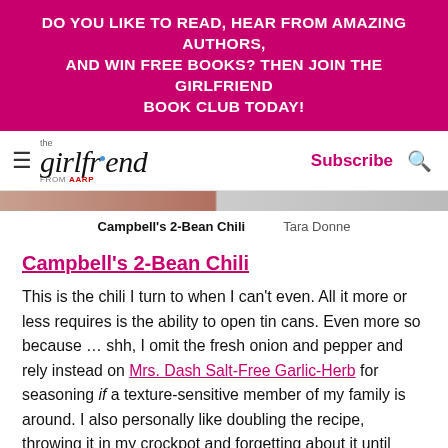DO YOU LIKE TO READ, HEAR FROM AMAZING AUTHORS, AND WIN FREE BOOKS? THEN JOIN THE GIRLFRIEND BOOK CLUB TODAY!
[Figure (logo): The Girlfriend from AARP logo with hamburger menu, Subscribe link and search icon navigation bar]
Campbell's 2-Bean Chili   Tara Donne
Campbell's 2-Bean Chili
This is the chili I turn to when I can't even. All it more or less requires is the ability to open tin cans. Even more so because … shh, I omit the fresh onion and pepper and rely instead on Mrs. Dash Salt-Free Garlic-Herb for seasoning if a texture-sensitive member of my family is around. I also personally like doubling the recipe, throwing it in my crockpot and forgetting about it until dinner. Leftover chili is